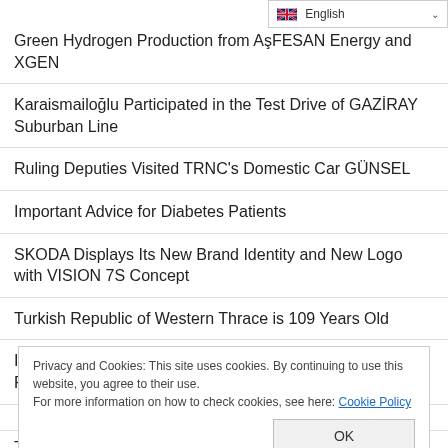English
Green Hydrogen Production from ASFLESAN Energy and XGEN
Karaismailoğlu Participated in the Test Drive of GAZİRAY Suburban Line
Ruling Deputies Visited TRNC's Domestic Car GÜNSEL
Important Advice for Diabetes Patients
SKODA Displays Its New Brand Identity and New Logo with VISION 7S Concept
Turkish Republic of Western Thrace is 109 Years Old
Insidious Danger Pathological Fractures Increase in Recent Years
Privacy and Cookies: This site uses cookies. By continuing to use this website, you agree to their use.
For more information on how to check cookies, see here: Cookie Policy
OK
Tax Exemption Doping on Micro Exports